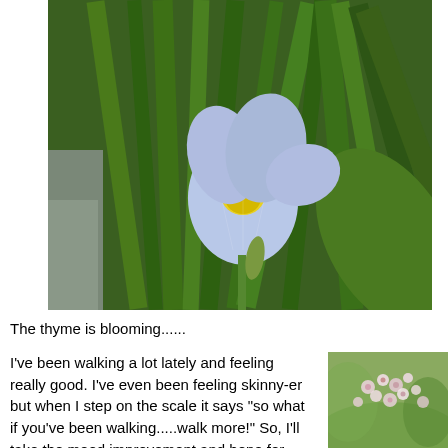[Figure (photo): A purple iris flower blooming among tall green iris leaves, with a yellow center. Background includes some gravel or rocky ground on the left side.]
The thyme is blooming......
[Figure (photo): Small pink and white flowers, possibly thyme blossoms, shown close-up with a blurred green background.]
I've been walking a lot lately and feeling really good.  I've even been feeling skinny-er but when I step on the scale it says "so what if you've been walking.....walk more!"  So, I'll take the mood improvement and hope for more as I keep